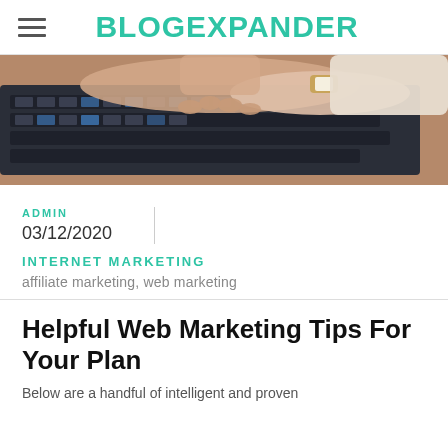BLOGEXPANDER
[Figure (photo): Hands typing on a laptop keyboard, person wearing a watch and light sweater, wooden desk surface visible]
ADMIN
03/12/2020
INTERNET MARKETING
affiliate marketing, web marketing
Helpful Web Marketing Tips For Your Plan
Below are a handful of intelligent and proven